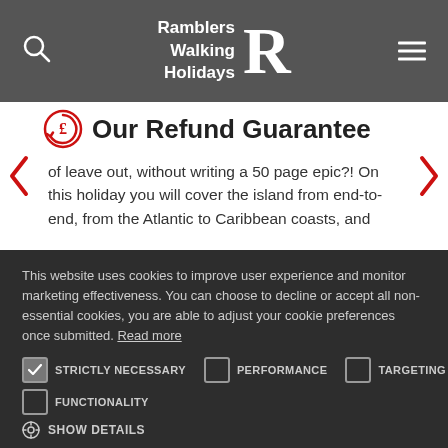Ramblers Walking Holidays
Our Refund Guarantee
of leave out, without writing a 50 page epic?! On this holiday you will cover the island from end-to-end, from the Atlantic to Caribbean coasts, and
This website uses cookies to improve user experience and monitor marketing effectiveness. You can choose to decline or accept all non-essential cookies, you are able to adjust your cookie preferences once submitted. Read more
STRICTLY NECESSARY  PERFORMANCE  TARGETING  FUNCTIONALITY  SHOW DETAILS
ACCEPT ALL  DECLINE ALL